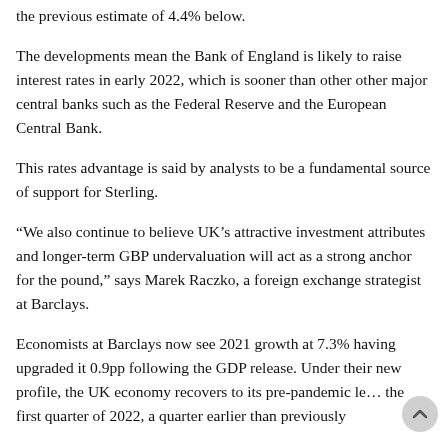the previous estimate of 4.4% below.
The developments mean the Bank of England is likely to raise interest rates in early 2022, which is sooner than other other major central banks such as the Federal Reserve and the European Central Bank.
This rates advantage is said by analysts to be a fundamental source of support for Sterling.
“We also continue to believe UK’s attractive investment attributes and longer-term GBP undervaluation will act as a strong anchor for the pound,” says Marek Raczko, a foreign exchange strategist at Barclays.
Economists at Barclays now see 2021 growth at 7.3% having upgraded it 0.9pp following the GDP release. Under their new profile, the UK economy recovers to its pre-pandemic le the first quarter of 2022, a quarter earlier than previously